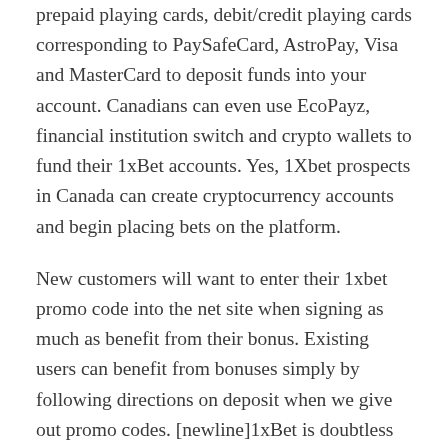prepaid playing cards, debit/credit playing cards corresponding to PaySafeCard, AstroPay, Visa and MasterCard to deposit funds into your account. Canadians can even use EcoPayz, financial institution switch and crypto wallets to fund their 1xBet accounts. Yes, 1Xbet prospects in Canada can create cryptocurrency accounts and begin placing bets on the platform.
New customers will want to enter their 1xbet promo code into the net site when signing as much as benefit from their bonus. Existing users can benefit from bonuses simply by following directions on deposit when we give out promo codes. [newline]1xBet is doubtless considered one of the greatest sportsbooks within the